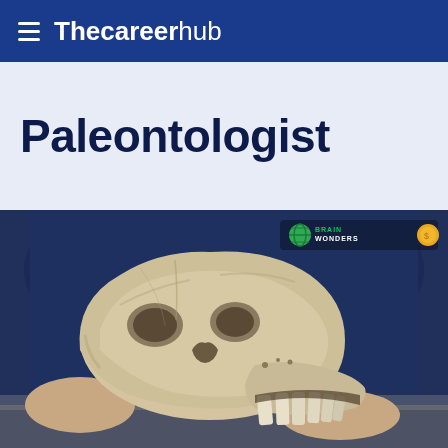Thecareerhub
Paleontologist
[Figure (photo): Person holding a large fossil skull (likely a prehistoric animal skull with visible teeth), wearing a dark navy sweater. A Brainwonders watermark logo appears in the upper right corner of the image.]